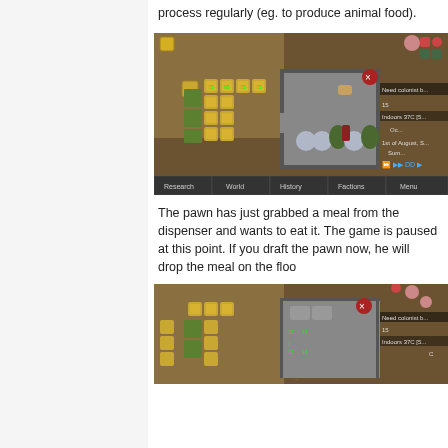process regularly (eg. to produce animal food).
[Figure (screenshot): RimWorld game screenshot showing a colony with crop fields, growing zones with plants, a building interior with barrels and equipment, a pawn with selection circle labeled 'Thens', and a UI bar at the bottom showing Research, World, History, Factions, Menu buttons. Text overlays show 'Need colonist b...', 'Indoors 37C [5...', '1st of August, S...', 'Sum...']
The pawn has just grabbed a meal from the dispenser and wants to eat it. The game is paused at this point. If you draft the pawn now, he will drop the meal on the floo
[Figure (screenshot): Second RimWorld game screenshot showing similar colony view with crop fields, growing zones, building interior, pawn with selection circle labeled 'Thens', and partial UI. Text overlays show 'Need colonist b...', 'Indoors 37C [5...']